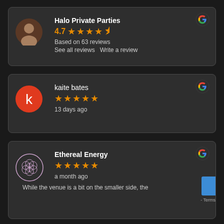[Figure (screenshot): Google review card for Halo Private Parties showing 4.7 stars based on 63 reviews]
Halo Private Parties
4.7 ★★★★½
Based on 63 reviews
See all reviews   Write a review
[Figure (screenshot): Google review card for kaite bates showing 5 stars, 13 days ago]
kaite bates
★★★★★
13 days ago
[Figure (screenshot): Google review card for Ethereal Energy showing 5 stars, a month ago]
Ethereal Energy
★★★★★
a month ago
While the venue is a bit on the smaller side, the